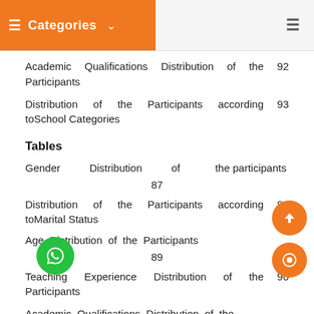Categories
Academic Qualifications Distribution of the Participants  92
Distribution of the Participants according toSchool Categories  93
Tables
Gender Distribution of the participants  87
Distribution of the Participants according toMarital Status  88
Age Distribution of the Participants  89
Teaching Experience Distribution of the Participants  90
Academic Qualifications Distribution of the